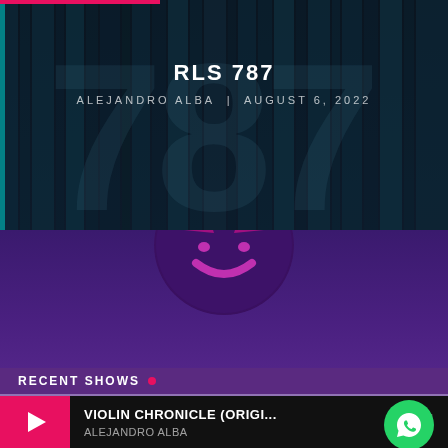[Figure (screenshot): Mobile app screenshot showing RLS 787 podcast/radio show. Top banner with dark curtain background and large '787' text. Center shows title 'RLS 787' by Alejandro Alba dated August 6, 2022. Middle purple section with circular logo. Bottom shows 'RECENT SHOWS' section with a listing for 'VIOLIN CHRONICLE (ORIGI...' by Alejandro Alba with pink play button and green WhatsApp button.]
RLS 787
ALEJANDRO ALBA | AUGUST 6, 2022
RECENT SHOWS
VIOLIN CHRONICLE (ORIGI...
ALEJANDRO ALBA